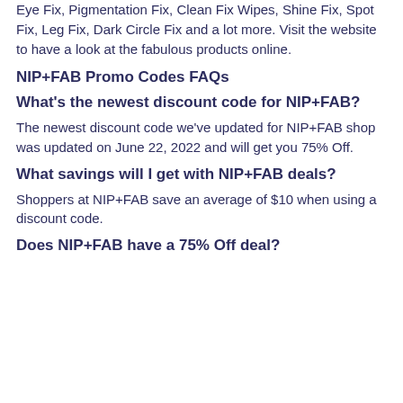Eye Fix, Pigmentation Fix, Clean Fix Wipes, Shine Fix, Spot Fix, Leg Fix, Dark Circle Fix and a lot more. Visit the website to have a look at the fabulous products online.
NIP+FAB Promo Codes FAQs
What's the newest discount code for NIP+FAB?
The newest discount code we've updated for NIP+FAB shop was updated on June 22, 2022 and will get you 75% Off.
What savings will I get with NIP+FAB deals?
Shoppers at NIP+FAB save an average of $10 when using a discount code.
Does NIP+FAB have a 75% Off deal?